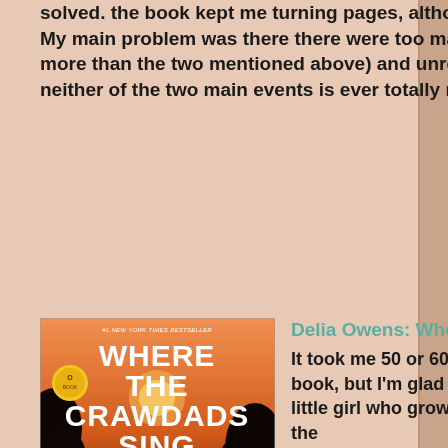solved. the book kept me turning pages, although not at a frantic pace. My main problem was there there were too many mysteries (actually, more than the two mentioned above) and unrelated characters. And neither of the two main events is ever totally resolved. (***)
[Figure (photo): Book cover of 'Where the Crawdads Sing' by Delia Owens. Orange/sunset gradient background with silhouette of a person in a boat on water, surrounded by trees. Text reads: #1 New York Times Bestseller, WHERE THE CRAWDADS SING, DELIA OWENS]
Delia Owens: Where the Crawdads Sing
It took me 50 or 60 pages to really get into this book, but I'm glad I stuck it out. It's about a little girl who grows up all alone in a shack in the wetlands of North Carolina. Beginning at seven years old, Kya, whose entire family has abandoned her, fends for herself and does it quite well. It's a coming-of-age story and also a mystery story of a murder (or not) of a local man. It's a love story or Kya and Tate's lifelong